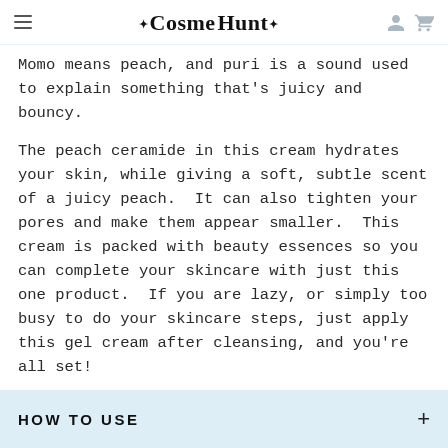✦Cosme Hunt✦
Momo means peach, and puri is a sound used to explain something that's juicy and bouncy.
The peach ceramide in this cream hydrates your skin, while giving a soft, subtle scent of a juicy peach.  It can also tighten your pores and make them appear smaller.  This cream is packed with beauty essences so you can complete your skincare with just this one product.  If you are lazy, or simply too busy to do your skincare steps, just apply this gel cream after cleansing, and you're all set!
HOW TO USE